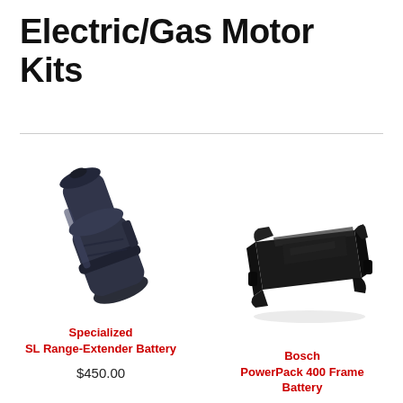Electric/Gas Motor Kits
[Figure (photo): Specialized SL Range-Extender Battery — a dark navy/black cylindrical battery with a handle grip shape, shown at an angle]
Specialized
SL Range-Extender Battery
$450.00
[Figure (photo): Bosch PowerPack 400 Frame Battery — a flat rectangular black battery pack with rounded edges, shown at a slight angle]
Bosch
PowerPack 400 Frame Battery
$629.00